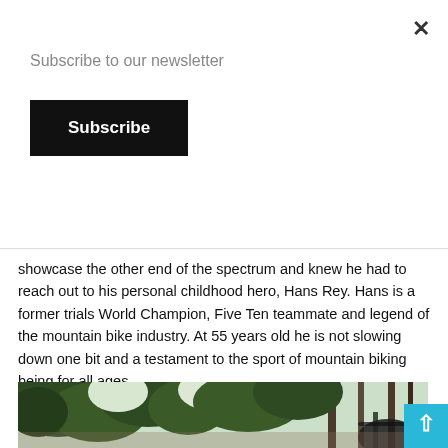Subscribe to our newsletter
Subscribe
showcase the other end of the spectrum and knew he had to reach out to his personal childhood hero, Hans Rey. Hans is a former trials World Champion, Five Ten teammate and legend of the mountain bike industry. At 55 years old he is not slowing down one bit and a testament to the sport of mountain biking being for all ages.
[Figure (photo): Upward-looking photo through green tree canopy with a mountain bike visible against the sky]